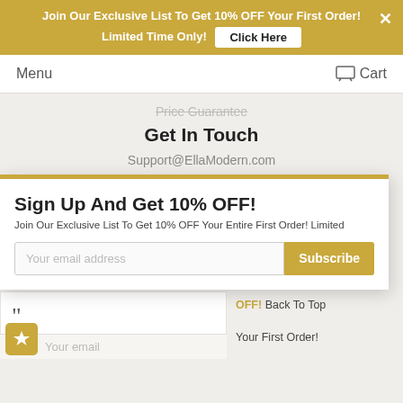Join Our Exclusive List To Get 10% OFF Your First Order! Limited Time Only! Click Here
Menu  Cart
Price Guarantee
Get In Touch
Support@EllaModern.com
Sign Up And Get 10% OFF!
Join Our Exclusive List To Get 10% OFF Your Entire First Order! Limited
Your email address  Subscribe
Christian was terrific to work with; very professional and helpful. The price was the best we found ...
ABBY - New York, NY
OFF! Back To Top
Your First Order!
Your email